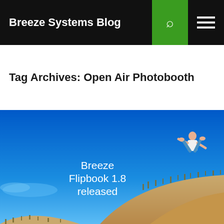Breeze Systems Blog
Tag Archives: Open Air Photobooth
[Figure (photo): Outdoor scene with sandy dunes and scrubby grass under a vivid blue sky. A person doing a backflip is mid-air above the dunes. Overlaid white text reads 'Breeze Flipbook 1.8 released'.]